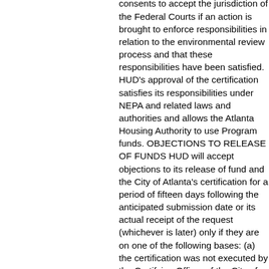consents to accept the jurisdiction of the Federal Courts if an action is brought to enforce responsibilities in relation to the environmental review process and that these responsibilities have been satisfied. HUD's approval of the certification satisfies its responsibilities under NEPA and related laws and authorities and allows the Atlanta Housing Authority to use Program funds. OBJECTIONS TO RELEASE OF FUNDS HUD will accept objections to its release of fund and the City of Atlanta's certification for a period of fifteen days following the anticipated submission date or its actual receipt of the request (whichever is later) only if they are on one of the following bases: (a) the certification was not executed by the Certifying Officer of the City of Atlanta; (b) the City of Atlanta has omitted a step or failed to make a decision or finding required by HUD regulations at 24 CFR part 58; (c) the grant recipient or other participants in the development process have committed funds, incurred costs or undertaken activities not authorized by 24 CFR Part 58 before approval of a release of funds by HUD; or (d) another